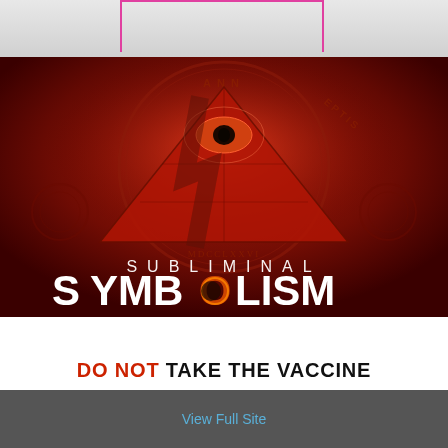[Figure (photo): Top portion of a photo showing a white background with a pink/magenta rectangular outline drawn over part of the image (bottle or container partially visible at top)]
[Figure (illustration): Dark red banner image featuring an illuminati-style all-seeing eye inside a pyramid (dollar bill imagery) with bold text reading 'SUBLIMINAL SYMBOLISM' — the O in SYMBOLISM is styled as a solar eclipse/sun graphic]
DO NOT TAKE THE VACCINE
View Full Site